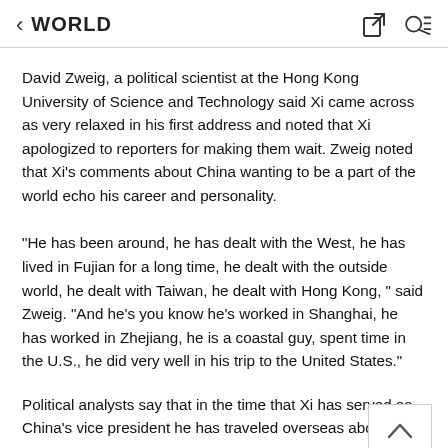WORLD
David Zweig, a political scientist at the Hong Kong University of Science and Technology said Xi came across as very relaxed in his first address and noted that Xi apologized to reporters for making them wait. Zweig noted that Xi's comments about China wanting to be a part of the world echo his career and personality.
"He has been around, he has dealt with the West, he has lived in Fujian for a long time, he dealt with the outside world, he dealt with Taiwan, he dealt with Hong Kong, " said Zweig. "And he's you know he's worked in Shanghai, he has worked in Zhejiang, he is a coastal guy, spent time in the U.S., he did very well in his trip to the United States."
Political analysts say that in the time that Xi has served as China's vice president he has traveled overseas about 50